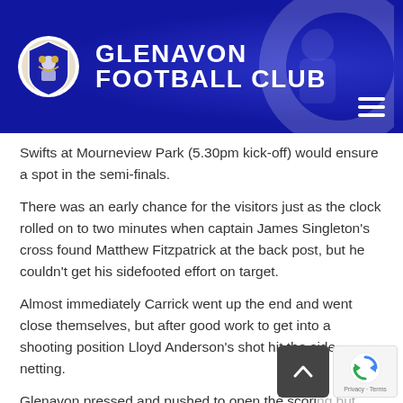GLENAVON FOOTBALL CLUB
Swifts at Mourneview Park (5.30pm kick-off) would ensure a spot in the semi-finals.
There was an early chance for the visitors just as the clock rolled on to two minutes when captain James Singleton's cross found Matthew Fitzpatrick at the back post, but he couldn't get his sidefooted effort on target.
Almost immediately Carrick went up the end and went close themselves, but after good work to get into a shooting position Lloyd Anderson's shot hit the side netting.
Glenavon pressed and pushed to open the scoring but were caught on the hop by the hosts with 10 minutes on the clock. Carrick counter attacked and the ball was fed through